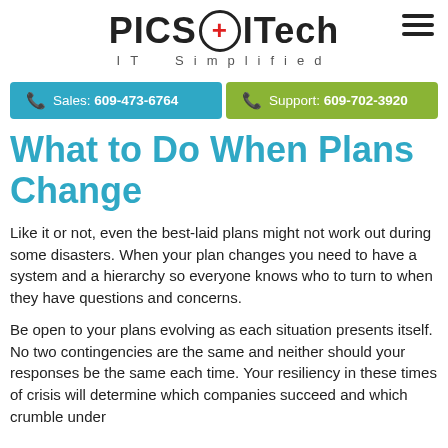[Figure (logo): PICS ITech logo with red plus sign in circle, subtitle IT Simplified]
Sales: 609-473-6764
Support: 609-702-3920
What to Do When Plans Change
Like it or not, even the best-laid plans might not work out during some disasters. When your plan changes you need to have a system and a hierarchy so everyone knows who to turn to when they have questions and concerns.
Be open to your plans evolving as each situation presents itself. No two contingencies are the same and neither should your responses be the same each time. Your resiliency in these times of crisis will determine which companies succeed and which crumble under